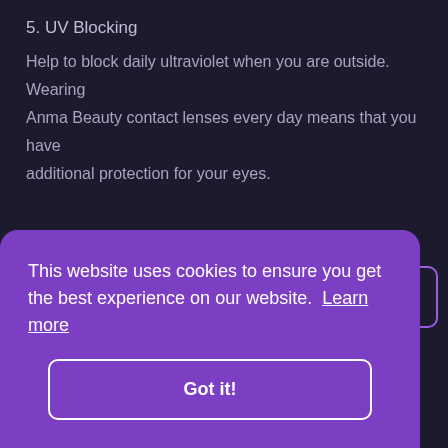5. UV Blocking
Help to block daily ultraviolet when you are outside. Wearing Anma Beauty contact lenses every day means that you have additional protection for your eyes.
6. Yearly disposable
Super cost-effective, long-term usage for consistent fancy transformation with affordable low price. Has good moldability and is easy to be operated and wear. Suitable for
This website uses cookies to ensure you get the best experience on our website. Learn more
Got it!